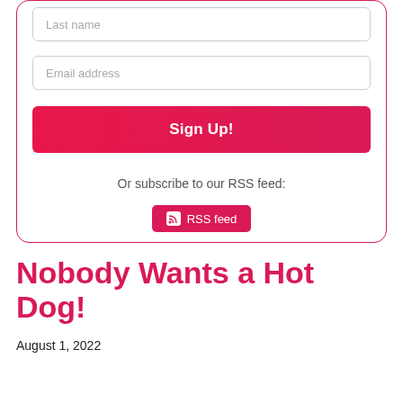Last name
Email address
Sign Up!
Or subscribe to our RSS feed:
RSS feed
Nobody Wants a Hot Dog!
August 1, 2022